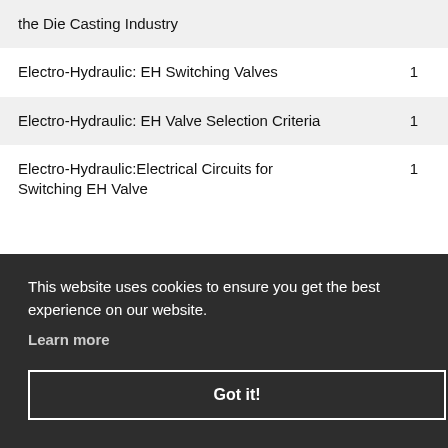| Title | Page |
| --- | --- |
| the Die Casting Industry |  |
| Electro-Hydraulic: EH Switching Valves | 1 |
| Electro-Hydraulic: EH Valve Selection Criteria | 1 |
| Electro-Hydraulic:Electrical Circuits for Switching EH Valve | 1 |
This website uses cookies to ensure you get the best experience on our website.
Learn more
Got it!